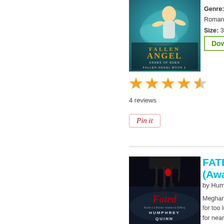[Figure (photo): Book cover for Fallen Angel: Ashes of Eden - Fallen Angel Book 1, showing an angelic figure with golden hair against a blue-green swirling background]
Genre: Fiction, Romance,
Size: 315 p
Free eBoo
Download
[Figure (other): 4.5 star rating display with 4 reviews]
4 reviews
Pin it
[Figure (photo): Book cover for Fated - Books 1-2 Bundle: Awaken & Shifting by Humphrey Quinn, showing dark dripping paint/blood imagery with cursive Fated title]
FATED
(Awake
by Humph
Meghan ar for too long for nearly t they've con world with strange en mysteries, are only su